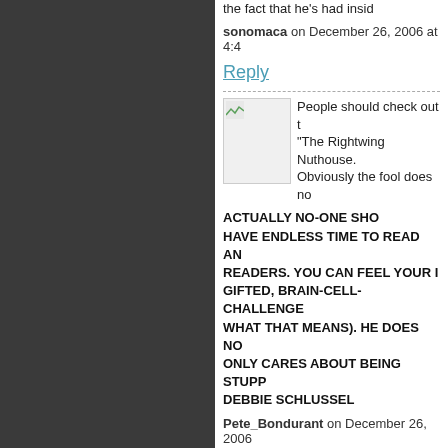the fact that he's had inside
sonomaca on December 26, 2006 at 4:4
Reply
People should check out t "The Rightwing Nuthouse. Obviously the fool does no ACTUALLY NO-ONE SHO HAVE ENDLESS TIME TO READ AN READERS. YOU CAN FEEL YOUR I GIFTED, BRAIN-CELL-CHALLENGE WHAT THAT MEANS). HE DOES NO ONLY CARES ABOUT BEING STUPP DEBBIE SCHLUSSEL
Pete_Bondurant on December 26, 2006
Reply
Debbie, I have not seen th be exposed fairly quickly i